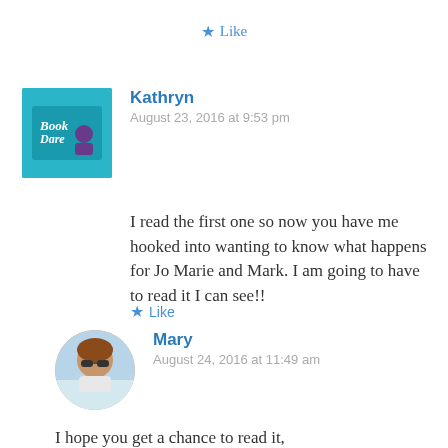★ Like
[Figure (illustration): Avatar image for Kathryn showing Book Dare logo with illustrated woman]
Kathryn
August 23, 2016 at 9:53 pm
I read the first one so now you have me hooked into wanting to know what happens for Jo Marie and Mark. I am going to have to read it I can see!!
★ Like
[Figure (photo): Avatar photo of Mary, a woman with brown hair and sunglasses]
Mary
August 24, 2016 at 11:49 am
I hope you get a chance to read it,